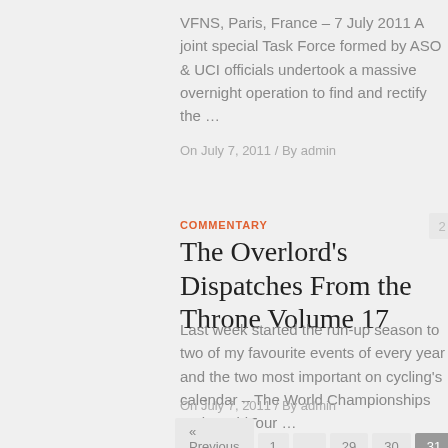VFNS, Paris, France – 7 July 2011 A joint special Task Force formed by ASO & UCI officials undertook a massive overnight operation to find and rectify the …
On July 7, 2011  /  By admin
COMMENTARY
The Overlord's Dispatches From the Throne Volume 17
Last week started the run-up season to two of my favourite events of every year and the two most important on cycling's calendar – The World Championships and WorldTour …
On July 7, 2011  /  By admin
« Previous Page  1  …  29  30  31